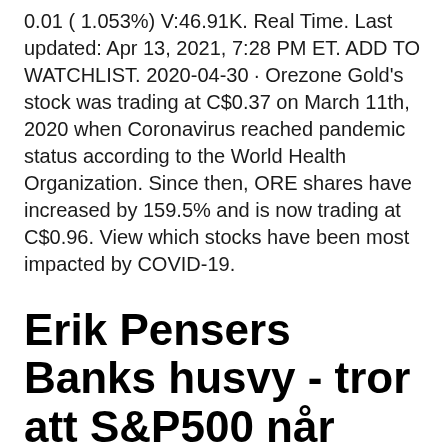0.01 ( 1.053%) V:46.91K. Real Time. Last updated: Apr 13, 2021, 7:28 PM ET. ADD TO WATCHLIST. 2020-04-30 · Orezone Gold's stock was trading at C$0.37 on March 11th, 2020 when Coronavirus reached pandemic status according to the World Health Organization. Since then, ORE shares have increased by 159.5% and is now trading at C$0.96. View which stocks have been most impacted by COVID-19.
Erik Pensers Banks husvy - tror att S&P500 når 4500 under
Barron's also provides information on historical